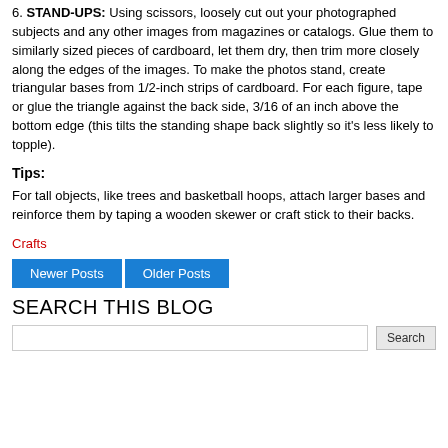6. STAND-UPS: Using scissors, loosely cut out your photographed subjects and any other images from magazines or catalogs. Glue them to similarly sized pieces of cardboard, let them dry, then trim more closely along the edges of the images. To make the photos stand, create triangular bases from 1/2-inch strips of cardboard. For each figure, tape or glue the triangle against the back side, 3/16 of an inch above the bottom edge (this tilts the standing shape back slightly so it's less likely to topple).
Tips:
For tall objects, like trees and basketball hoops, attach larger bases and reinforce them by taping a wooden skewer or craft stick to their backs.
Crafts
Newer Posts | Older Posts
SEARCH THIS BLOG